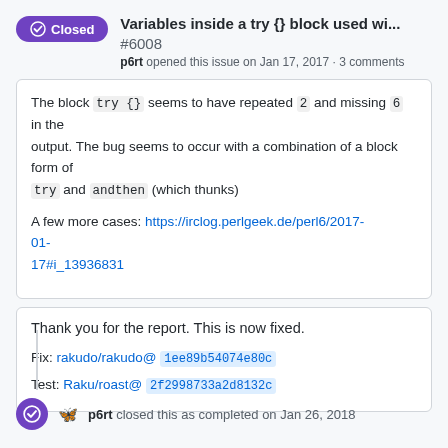Variables inside a try {} block used wi... #6008
p6rt opened this issue on Jan 17, 2017 · 3 comments
The block `try {}` seems to have repeated `2` and missing `6` in the output. The bug seems to occur with a combination of a block form of `try` and `andthen` (which thunks)

A few more cases: https://irclog.perlgeek.de/perl6/2017-01-17#i_13936831
Thank you for the report. This is now fixed.
Fix: rakudo/rakudo@ 1ee89b54074e80c
Test: Raku/roast@ 2f2998733a2d8132c
p6rt closed this as completed on Jan 26, 2018